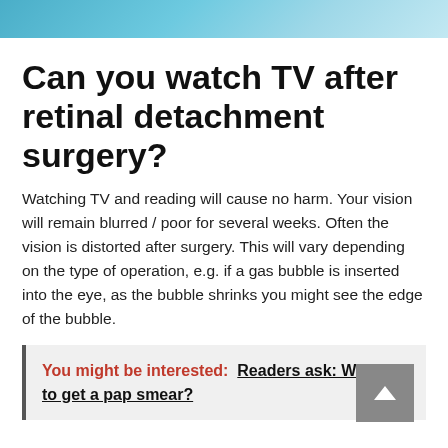[Figure (photo): Header image showing a close-up illustration of an eye with blue and teal tones]
Can you watch TV after retinal detachment surgery?
Watching TV and reading will cause no harm. Your vision will remain blurred / poor for several weeks. Often the vision is distorted after surgery. This will vary depending on the type of operation, e.g. if a gas bubble is inserted into the eye, as the bubble shrinks you might see the edge of the bubble.
You might be interested: Readers ask: When to get a pap smear?